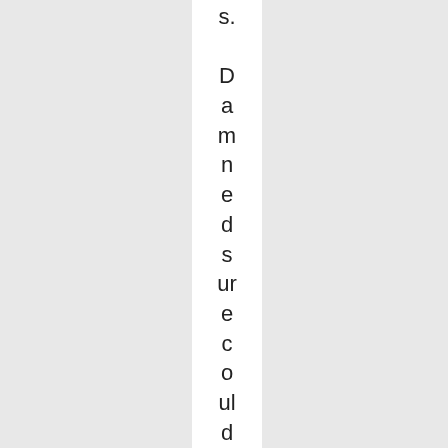s. Damnedsure could be worse! It sured don'